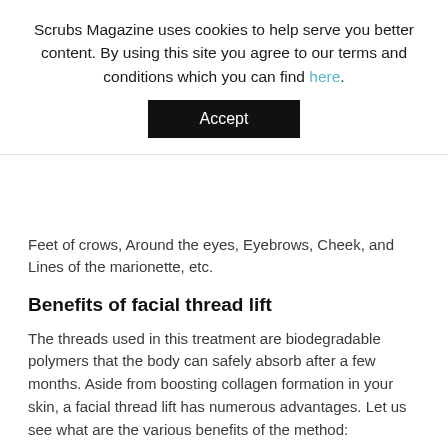Scrubs Magazine uses cookies to help serve you better content. By using this site you agree to our terms and conditions which you can find here.
Accept
Feet of crows, Around the eyes, Eyebrows, Cheek, and Lines of the marionette, etc.
Benefits of facial thread lift
The threads used in this treatment are biodegradable polymers that the body can safely absorb after a few months. Aside from boosting collagen formation in your skin, a facial thread lift has numerous advantages. Let us see what are the various benefits of the method:
Instant facelift – gives a tightening effect right